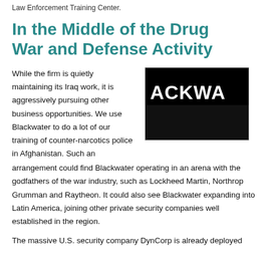Law Enforcement Training Center.
In the Middle of the Drug War and Defense Activity
While the firm is quietly maintaining its Iraq work, it is aggressively pursuing other business opportunities. We use Blackwater to do a lot of our training of counter-narcotics police in Afghanistan. Such an arrangement could find Blackwater operating in an arena with the godfathers of the war industry, such as Lockheed Martin, Northrop Grumman and Raytheon. It could also see Blackwater expanding into Latin America, joining other private security companies well established in the region.
[Figure (photo): Blackwater logo image showing partial text 'ACKWA...' in white on black background]
The massive U.S. security company DynCorp is already deployed